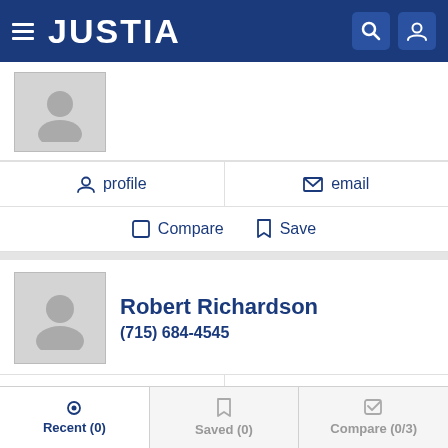JUSTIA
[Figure (illustration): Attorney profile placeholder avatar silhouette (first card, partially visible)]
profile
email
Compare  Save
Robert Richardson
(715) 684-4545
[Figure (illustration): Attorney profile placeholder avatar silhouette (Robert Richardson card)]
profile
email
Compare  Save
Recent (0)  Saved (0)  Compare (0/3)